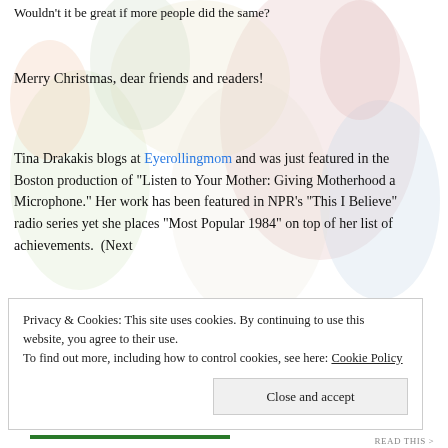Wouldn't it be great if more people did the same?
Merry Christmas, dear friends and readers!
Tina Drakakis blogs at Eyerollingmom and was just featured in the Boston production of “Listen to Your Mother: Giving Motherhood a Microphone.” Her work has been featured in NPR’s “This I Believe” radio series yet she places “Most Popular 1984” on top of her list of achievements.  (Next
Privacy & Cookies: This site uses cookies. By continuing to use this website, you agree to their use.
To find out more, including how to control cookies, see here: Cookie Policy
Close and accept